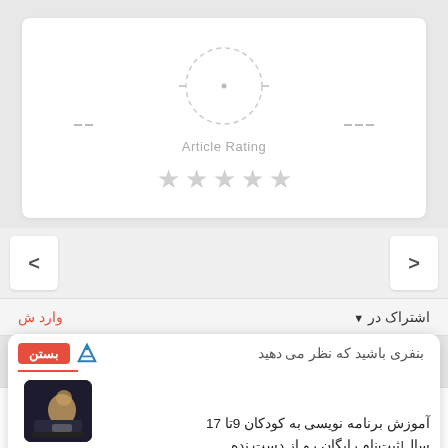[Figure (other): Article rating widget with dashed circle, star rating display showing 5 empty/grey stars, and 'Article Rating' label]
[Figure (other): Navigation arrow chevrons (left and right) for a content carousel]
اشتراک در ▼   وارد ش
[Figure (screenshot): Notification popup with close button (بستن), partial title text, logo icon, main text about programming course for kids ages 9-17 (آموزش برنامه نویسی به کودکان 9تا 17 سال|ثبت‌نام رایگان رو از دست نده), green signup button (ثبت نام رایگان), and photo of child at laptop]
صفحه اصلی   منو سایت   دسته بندی‌ها   جستجو